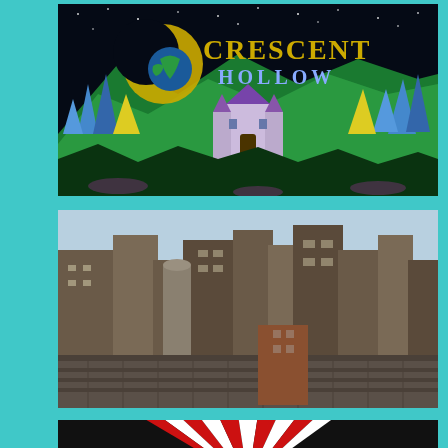[Figure (screenshot): Crescent Hollow game title screen showing a fantasy landscape with green mountains, colorful crystal formations, a castle with purple towers, crescent moon logo with Earth globe, stars in the night sky, and 'likeit.GURU' watermark in bottom right]
[Figure (screenshot): City skyline screenshot showing dark brick buildings and skyscrapers under a blue sky, appears to be a video game city environment with stone walls in the foreground]
[Figure (screenshot): Partially visible screenshot showing a red and white fan or radial pattern against a dark background, only the top portion visible]